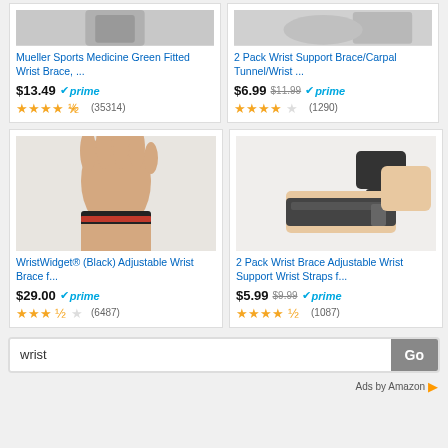[Figure (screenshot): Amazon product listing screenshot showing wrist braces for sale. Top row shows partial product cards for Mueller Sports Medicine Green Fitted Wrist Brace ($13.49, prime, 4.5 stars, 35314 reviews) and 2 Pack Wrist Support Brace/Carpal Tunnel/Wrist ($6.99 originally $11.99, prime, 4 stars, 1290 reviews). Bottom row shows WristWidget (Black) Adjustable Wrist Brace ($29.00, prime, 3.5 stars, 6487 reviews) and 2 Pack Wrist Brace Adjustable Wrist Support Wrist Straps ($5.99 originally $9.99, prime, 4.5 stars, 1087 reviews). Search bar with 'wrist' and Go button. Ads by Amazon footer.]